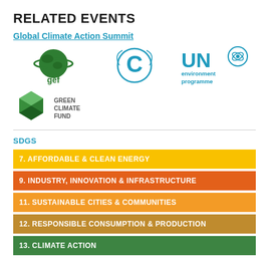RELATED EVENTS
Global Climate Action Summit
[Figure (logo): GEF (Global Environment Facility) logo — green globe with ring and 'gef' text]
[Figure (logo): UNFCCC logo — blue stylized C with laurel wreath]
[Figure (logo): UN Environment Programme logo — 'UNO' with leaf and 'environment programme' text]
[Figure (logo): Green Climate Fund logo — green geometric globe with 'GREEN CLIMATE FUND' text]
SDGS
7. AFFORDABLE & CLEAN ENERGY
9. INDUSTRY, INNOVATION & INFRASTRUCTURE
11. SUSTAINABLE CITIES & COMMUNITIES
12. RESPONSIBLE CONSUMPTION & PRODUCTION
13. CLIMATE ACTION